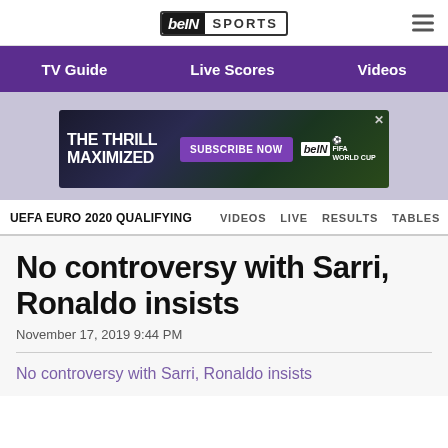[Figure (logo): beIN SPORTS logo in top navigation bar]
TV Guide   Live Scores   Videos
[Figure (infographic): beIN Sports advertisement banner: THE THRILL MAXIMIZED — SUBSCRIBE NOW — beIN FIFA World Cup logo]
UEFA EURO 2020 QUALIFYING   VIDEOS   LIVE   RESULTS   TABLES   STA
No controversy with Sarri, Ronaldo insists
November 17, 2019 9:44 PM
No controversy with Sarri, Ronaldo insists